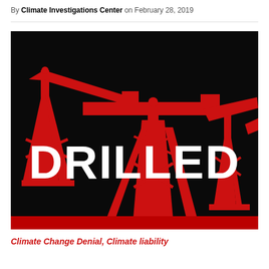By Climate Investigations Center on February 28, 2019
[Figure (illustration): Promotional graphic for 'DRILLED' podcast/series showing red oil pump jacks silhouetted against a black background, with the word DRILLED in large bold white text across the center.]
Climate Change Denial, Climate liability